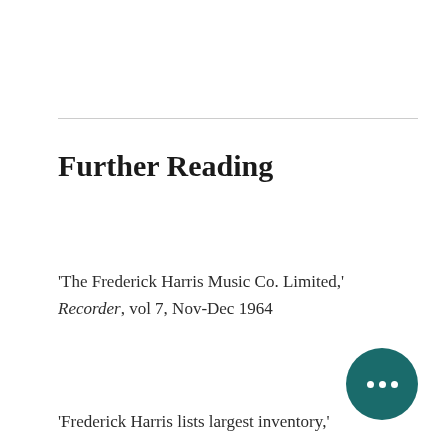Further Reading
'The Frederick Harris Music Co. Limited,' Recorder, vol 7, Nov-Dec 1964
'Frederick Harris lists largest inventory,'